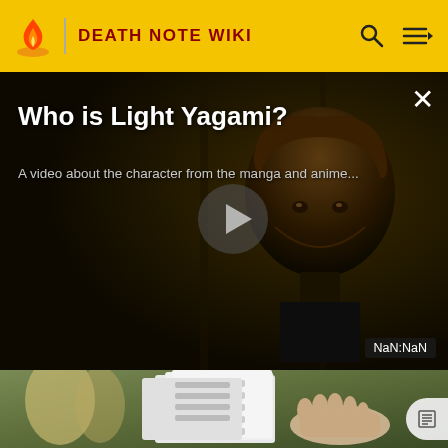DEATH NOTE WIKI
Who is Light Yagami?
A video about the character from the manga and anime...
NaN:NaN
[Figure (screenshot): Anime screenshot showing a hand holding the Death Note book with slots/tabs, green-tinted background]
[Figure (screenshot): Video thumbnail showing Light Yagami anime character with dark moody background and play button]